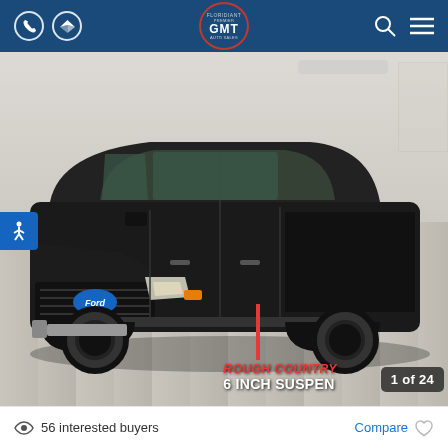GMT Auto Sales header with phone icon, directions icon, GMT logo, search icon, menu icon
[Figure (photo): Black Ford F-150 pickup truck with Rough Country 6 inch suspension lift kit, photographed indoors in a dealership showroom with white walls and light wood-look flooring. Photo counter shows 1 of 24.]
56 interested buyers
Compare